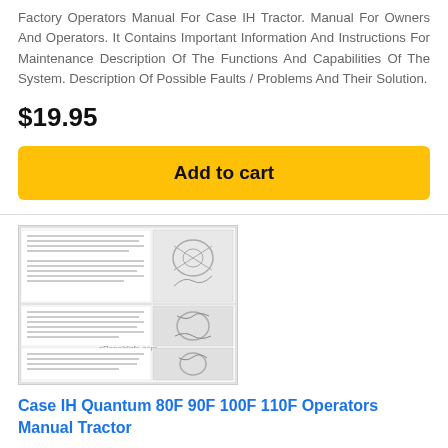Factory Operators Manual For Case IH Tractor. Manual For Owners And Operators. It Contains Important Information And Instructions For Maintenance Description Of The Functions And Capabilities Of The System. Description Of Possible Faults / Problems And Their Solution.
$19.95
Add to cart
[Figure (photo): Preview thumbnail of a Case IH tractor operators manual showing text instructions on the left and mechanical/engine diagrams on the right, with an eRepairInfo.com watermark]
Case IH Quantum 80F 90F 100F 110F Operators Manual Tractor